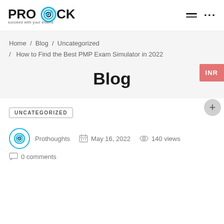[Figure (logo): ProMock logo with target icon and tagline 'succeed with your exams']
Home / Blog / Uncategorized / How to Find the Best PMP Exam Simulator in 2022
Blog
UNCATEGORIZED
Prothoughts   May 16, 2022   140 views   0 comments